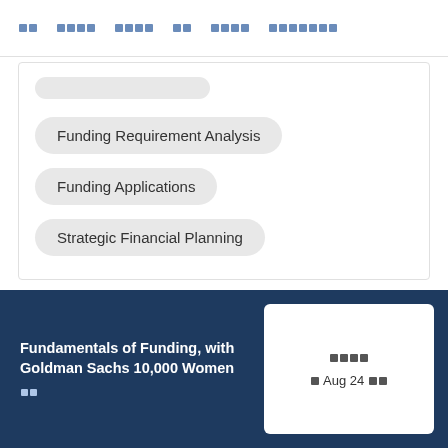□□  □□□□  □□□□  □□  □□□□  □□□□□□□
Funding Requirement Analysis
Funding Applications
Strategic Financial Planning
Fundamentals of Funding, with Goldman Sachs 10,000 Women
□□
□□□□  □ Aug 24 □□